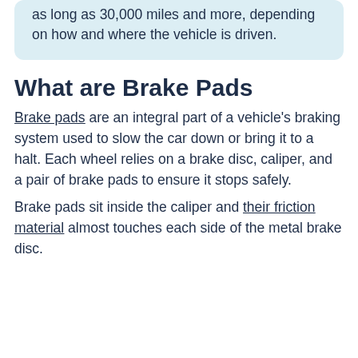as long as 30,000 miles and more, depending on how and where the vehicle is driven.
What are Brake Pads
Brake pads are an integral part of a vehicle's braking system used to slow the car down or bring it to a halt. Each wheel relies on a brake disc, caliper, and a pair of brake pads to ensure it stops safely.
Brake pads sit inside the caliper and their friction material almost touches each side of the metal brake disc.